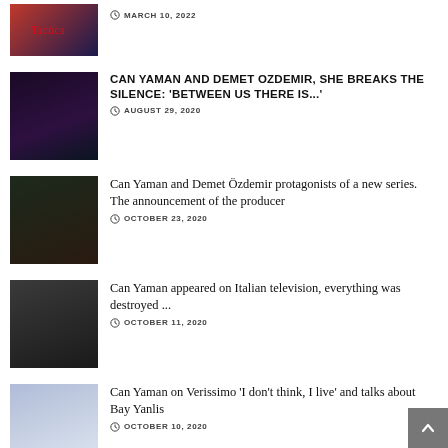[Image: Tactics Netflix thumbnail] MARCH 10, 2022
CAN YAMAN AND DEMET OZDEMIR, SHE BREAKS THE SILENCE: 'BETWEEN US THERE IS...' AUGUST 29, 2020
Can Yaman and Demet Özdemir protagonists of a new series. The announcement of the producer OCTOBER 23, 2020
Can Yaman appeared on Italian television, everything was destroyed ... OCTOBER 11, 2020
Can Yaman on Verissimo 'I don't think, I live' and talks about Bay Yanlis OCTOBER 10, 2020